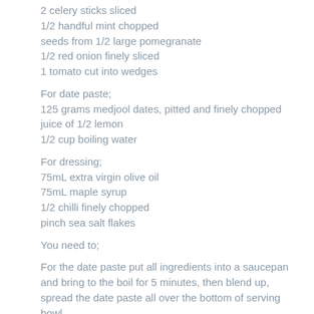2 celery sticks sliced
1/2 handful mint chopped
seeds from 1/2 large pomegranate
1/2 red onion finely sliced
1 tomato cut into wedges
For date paste;
125 grams medjool dates, pitted and finely chopped
juice of 1/2 lemon
1/2 cup boiling water
For dressing;
75mL extra virgin olive oil
75mL maple syrup
1/2 chilli finely chopped
pinch sea salt flakes
You need to;
For the date paste put all ingredients into a saucepan and bring to the boil for 5 minutes, then blend up, spread the date paste all over the bottom of serving bowl.